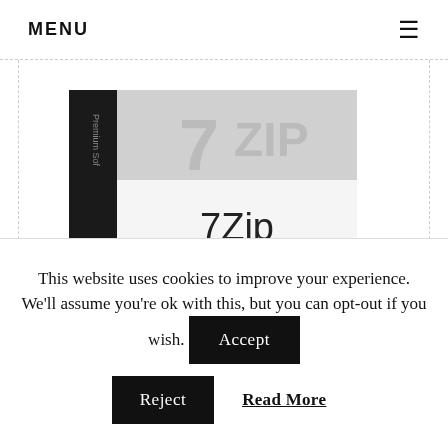MENU  ≡
[Figure (photo): 7-Zip software product box showing the 7Zip branding, Windows Software label, Microsoft Windows logo, and a colorful gradient stripe at the bottom with barcode. Black spine with Premium Software text.]
7-Zip 64-bit is a file archive with a high compression ratio. With these tools, you can easily
This website uses cookies to improve your experience. We'll assume you're ok with this, but you can opt-out if you wish.  Accept  Reject  Read More